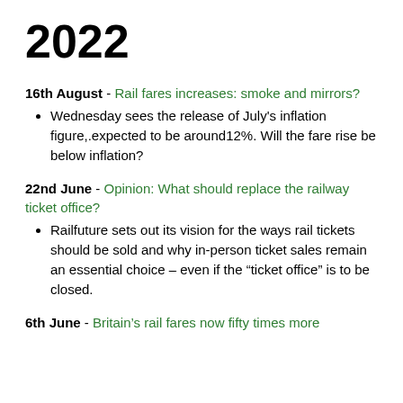2022
16th August - Rail fares increases: smoke and mirrors?
Wednesday sees the release of July's inflation figure,.expected to be around12%. Will the fare rise be below inflation?
22nd June - Opinion: What should replace the railway ticket office?
Railfuture sets out its vision for the ways rail tickets should be sold and why in-person ticket sales remain an essential choice – even if the “ticket office” is to be closed.
6th June - Britain’s rail fares now fifty times more